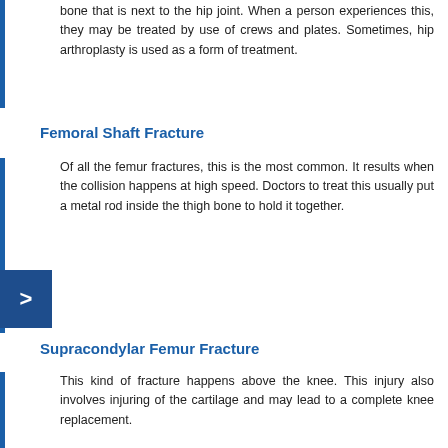bone that is next to the hip joint. When a person experiences this, they may be treated by use of crews and plates. Sometimes, hip arthroplasty is used as a form of treatment.
Femoral Shaft Fracture
Of all the femur fractures, this is the most common. It results when the collision happens at high speed. Doctors to treat this usually put a metal rod inside the thigh bone to hold it together.
Supracondylar Femur Fracture
This kind of fracture happens above the knee. This injury also involves injuring of the cartilage and may lead to a complete knee replacement.
4. Disfigurement
When a bicycle accident happens, the face is usually exposed. A cyclist can suffer from severe facial injuries that may lead to deformity or disfigurement of the face. Injuries that result in